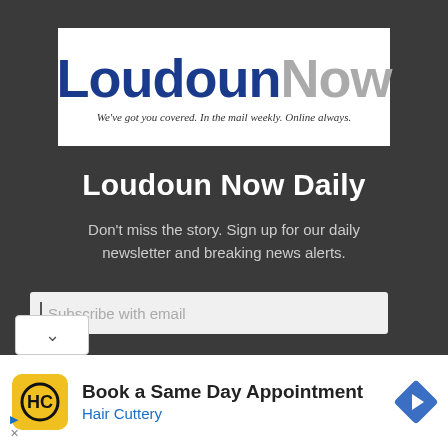[Figure (logo): LoudounNow newspaper logo with tagline: We've got you covered. In the mail weekly. Online always.]
Loudoun Now Daily
Don't miss the story. Sign up for our daily newsletter and breaking news alerts.
Subscribe with email
[Figure (screenshot): Advertisement: Book a Same Day Appointment - Hair Cuttery, with Hair Cuttery logo and navigation arrow icon]